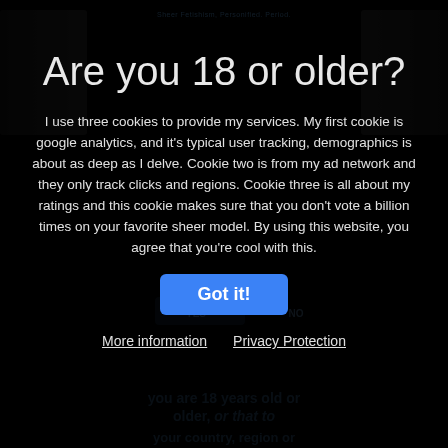[Figure (screenshot): Age verification modal overlay on a dark website. Shows blurred background content with a modal asking 'Are you 18 or older?' with cookie consent text, a blue 'Got it!' button, and links to 'More information' and 'Privacy Protection'.]
Are you 18 or older?
I use three cookies to provide my services. My first cookie is google analytics, and it's typical user tracking, demographics is about as deep as I delve. Cookie two is from my ad network and they only track clicks and regions. Cookie three is all about my ratings and this cookie makes sure that you don't vote a billion times on your favorite sheer model. By using this website, you agree that you're cool with this.
Got it!
More information
Privacy Protection